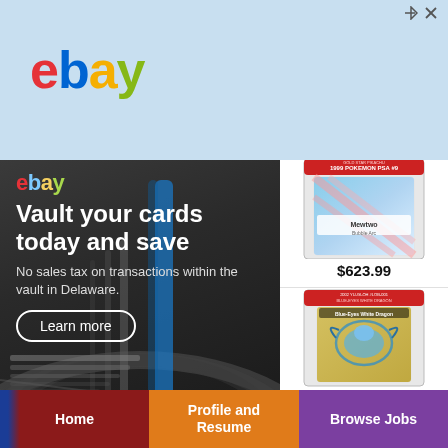[Figure (screenshot): eBay advertisement banner. Top: light blue bar with eBay logo in blue. Main section left: dark vault interior with eBay logo, headline 'Vault your cards today and save', subtext 'No sales tax on transactions within the vault in Delaware.', and 'Learn more' button. Main section right: two trading cards in PSA slabs. Top card: Pokemon card priced $623.99. Bottom card: Yu-Gi-Oh card priced $125,000. Bottom: navigation bar with Home (dark red), Profile and Resume (orange), Browse Jobs (purple).]